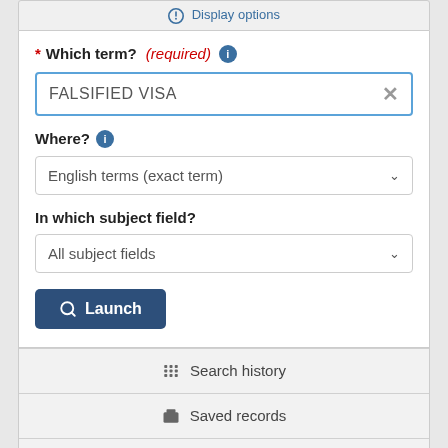Display options
* Which term? (required)
FALSIFIED VISA
Where?
English terms (exact term)
In which subject field?
All subject fields
Launch
Search history
Saved records
Suggestions